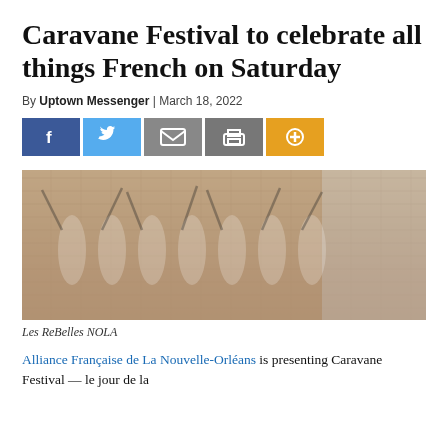Caravane Festival to celebrate all things French on Saturday
By Uptown Messenger | March 18, 2022
[Figure (infographic): Social share buttons: Facebook (blue), Twitter (light blue), Email (grey), Print (grey), Plus/More (orange)]
[Figure (photo): Les ReBelles NOLA dancers in French can-can costumes kicking legs up in a line, wearing red, white and blue outfits with feathered headpieces, against a brick wall background.]
Les ReBelles NOLA
Alliance Française de La Nouvelle-Orléans is presenting Caravane Festival — le jour de la